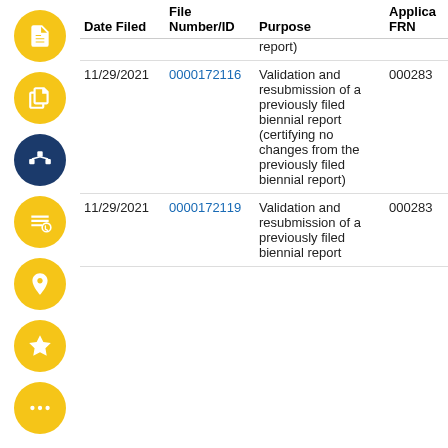| Date Filed | File Number/ID | Purpose | Applica FRN |
| --- | --- | --- | --- |
|  |  | report) |  |
| 11/29/2021 | 0000172116 | Validation and resubmission of a previously filed biennial report (certifying no changes from the previously filed biennial report) | 000283 |
| 11/29/2021 | 0000172119 | Validation and resubmission of a previously filed biennial report | 000283 |